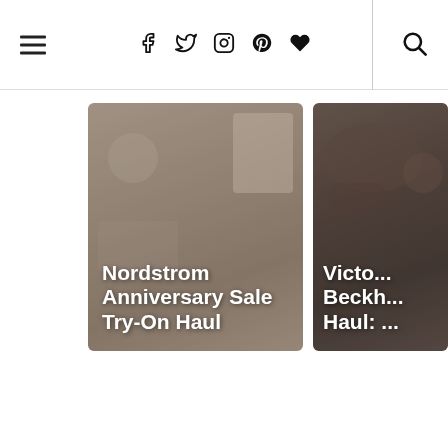Navigation bar with hamburger menu, social icons (Facebook, Twitter, Instagram, Pinterest, Heart/Bloglovin), and search icon
[Figure (photo): Thumbnail image card with blurred bedroom/closet background and white bold text overlay reading 'Nordstrom Anniversary Sale Try-On Haul']
[Figure (photo): Thumbnail image card with dark makeup/beauty background and white bold text overlay reading 'Victo... Beckh... Haul: ...' (partially cropped)]